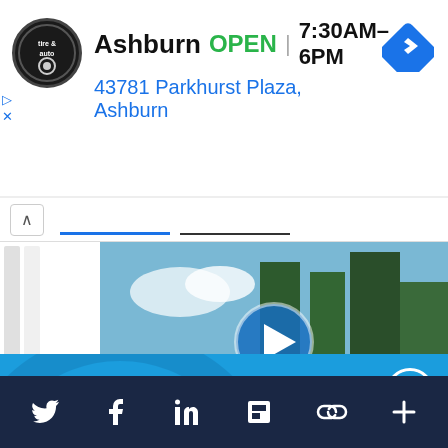[Figure (screenshot): Ad banner for Virginia Tire & Auto in Ashburn showing OPEN status, hours 7:30AM-6PM, address 43781 Parkhurst Plaza Ashburn, with a navigation arrow icon]
[Figure (photo): Video thumbnail showing trees/forest with a blue play button overlay and a landscape background]
Support IA
Subscribe to IA and investigate Australia today.
Close  Subscribe  Donate
Twitter Facebook LinkedIn Flipboard Link Plus